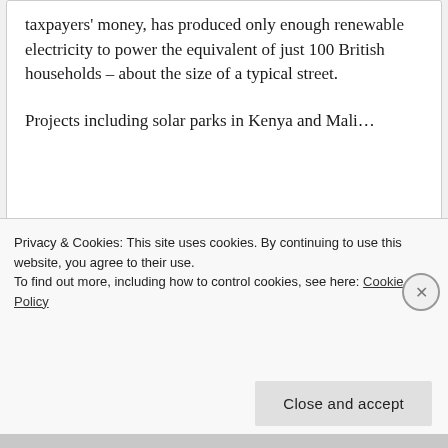taxpayers' money, has produced only enough renewable electricity to power the equivalent of just 100 British households – about the size of a typical street.
Projects including solar parks in Kenya and Mali…
View original post 409 more words
Privacy & Cookies: This site uses cookies. By continuing to use this website, you agree to their use. To find out more, including how to control cookies, see here: Cookie Policy
Close and accept